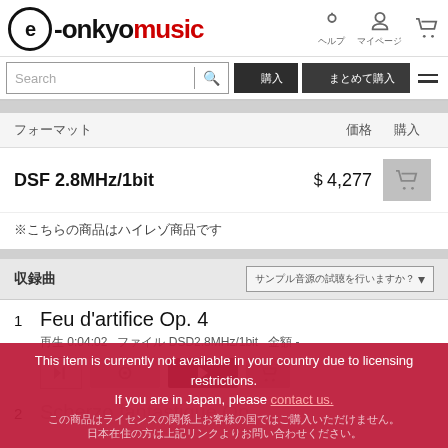e-onkyo music
Search
| フォーマット | 価格 | 購入 |
| --- | --- | --- |
| DSF 2.8MHz/1bit | ￥4,277 | 🛒 |
※こちらの商品はハイレゾ商品です
収録曲
1  Feu d'artifice Op. 4  再生 0:04:02  ファイル DSD2.8MHz/1bit  金額 -
2  Scherzo fantastique Op.
This item is currently not available in your country due to licensing restrictions. If you are in Japan, please contact us.